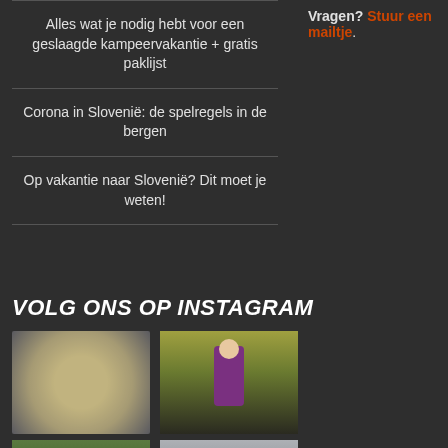Alles wat je nodig hebt voor een geslaagde kampeervakantie + gratis paklijst
Corona in Slovenië: de spelregels in de bergen
Op vakantie naar Slovenië? Dit moet je weten!
Vragen? Stuur een mailtje.
VOLG ONS OP INSTAGRAM
[Figure (photo): Instagram photo: food item in plastic bag]
[Figure (photo): Instagram photo: woman in purple top outdoors among trees]
[Figure (photo): Instagram photo: person hiking in mountain landscape]
[Figure (photo): Instagram photo: rocky mountain scenery]